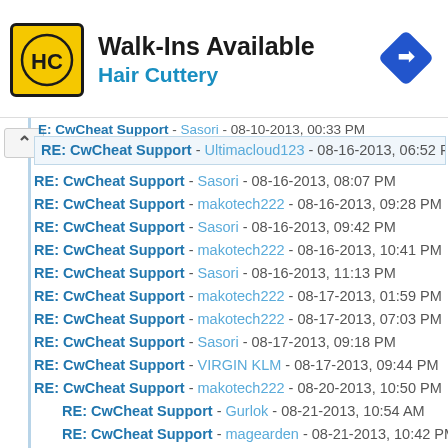[Figure (logo): Hair Cuttery advertisement banner with HC logo, Walk-Ins Available text, and navigation diamond icon]
RE: CwCheat Support - Ultimacloud123 - 08-16-2013, 06:52 PM
RE: CwCheat Support - Sasori - 08-16-2013, 08:07 PM
RE: CwCheat Support - makotech222 - 08-16-2013, 09:28 PM
RE: CwCheat Support - Sasori - 08-16-2013, 09:42 PM
RE: CwCheat Support - makotech222 - 08-16-2013, 10:41 PM
RE: CwCheat Support - Sasori - 08-16-2013, 11:13 PM
RE: CwCheat Support - makotech222 - 08-17-2013, 01:59 PM
RE: CwCheat Support - makotech222 - 08-17-2013, 07:03 PM
RE: CwCheat Support - Sasori - 08-17-2013, 09:18 PM
RE: CwCheat Support - VIRGIN KLM - 08-17-2013, 09:44 PM
RE: CwCheat Support - makotech222 - 08-20-2013, 10:50 PM
RE: CwCheat Support - Gurlok - 08-21-2013, 10:54 AM
RE: CwCheat Support - magearden - 08-21-2013, 10:42 PM
RE: CwCheat Support - salinski - 08-21-2013, 11:52 AM
RE: CwCheat Support - Gurlok - 08-21-2013, 11:56 AM
RE: CwCheat Support - salinski - 08-21-2013, 10:06 PM
RE: CwCheat Support - makotech222 - 08-22-2013, 02:55 AM
RE: CwCheat Support - SeiRyuu - 08-22-2013, 06:57 AM
RE: CwCheat Support - vsub_ - 08-22-2013, 04:35 AM